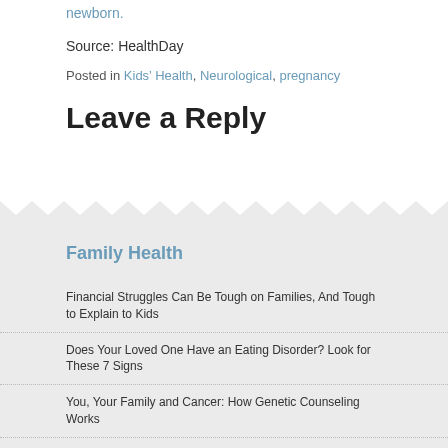newborn.
Source: HealthDay
Posted in Kids' Health, Neurological, pregnancy
Leave a Reply
Family Health
Financial Struggles Can Be Tough on Families, And Tough to Explain to Kids
Does Your Loved One Have an Eating Disorder? Look for These 7 Signs
You, Your Family and Cancer: How Genetic Counseling Works
Another Study Finds Kids of Same-Sex Parents Do Just Fine
PTSD Often Haunts Family Members of Hospitalized COVID Patients